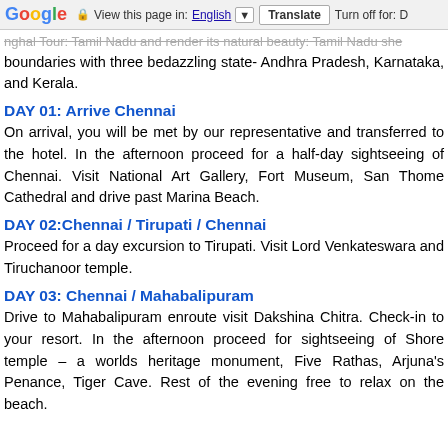Google | View this page in: English ▼ | Translate | Turn off for: D
boundaries with three bedazzling state- Andhra Pradesh, Karnataka, and Kerala.
DAY 01: Arrive Chennai
On arrival, you will be met by our representative and transferred to the hotel. In the afternoon proceed for a half-day sightseeing of Chennai. Visit National Art Gallery, Fort Museum, San Thome Cathedral and drive past Marina Beach.
DAY 02:Chennai / Tirupati / Chennai
Proceed for a day excursion to Tirupati. Visit Lord Venkateswara and Tiruchanoor temple.
DAY 03: Chennai / Mahabalipuram
Drive to Mahabalipuram enroute visit Dakshina Chitra. Check-in to your resort. In the afternoon proceed for sightseeing of Shore temple – a worlds heritage monument, Five Rathas, Arjuna's Penance, Tiger Cave. Rest of the evening free to relax on the beach.